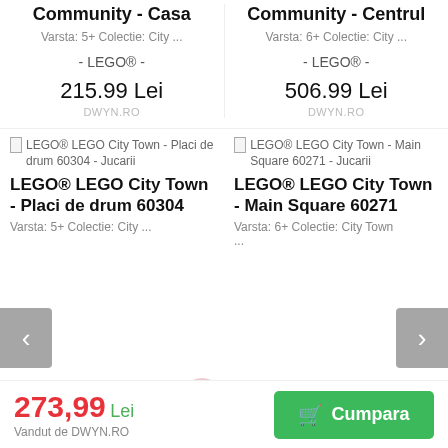LEGO® LEGO City Community - Casa
Varsta: 5+ Colectie: City ...
- LEGO® -
215.99 Lei
DWYN.RO
LEGO® LEGO City Community - Centrul
Varsta: 6+ Colectie: City ...
- LEGO® -
506.99 Lei
DWYN.RO
LEGO® LEGO City Town - Placi de drum 60304 - Jucarii
LEGO® LEGO City Town - Placi de drum 60304
Varsta: 5+ Colectie: City ...
LEGO® LEGO City Town - Main Square 60271 - Jucarii
LEGO® LEGO City Town - Main Square 60271
Varsta: 6+ Colectie: City Town ...
...
273,99 Lei
Vandut de DWYN.RO
Cumpara